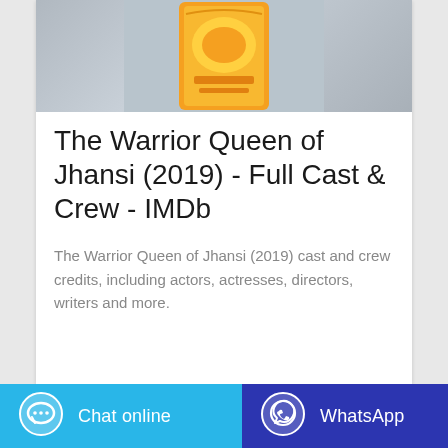[Figure (photo): Product photo of a snack/food package with orange and yellow packaging against a grey background, partially cropped at top]
The Warrior Queen of Jhansi (2019) - Full Cast & Crew - IMDb
The Warrior Queen of Jhansi (2019) cast and crew credits, including actors, actresses, directors, writers and more.
[Figure (infographic): Bottom bar with two buttons: 'Chat online' button on cyan/light blue background with chat bubble icon, and 'WhatsApp' button on dark blue background with WhatsApp logo icon]